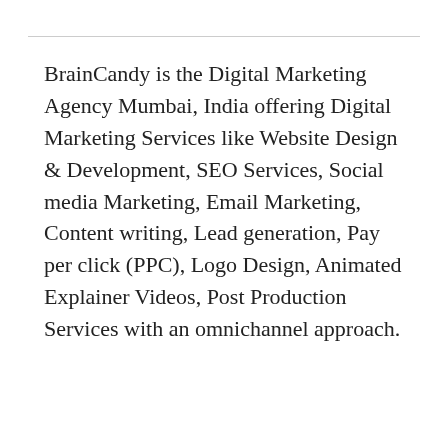BrainCandy is the Digital Marketing Agency Mumbai, India offering Digital Marketing Services like Website Design & Development, SEO Services, Social media Marketing, Email Marketing, Content writing, Lead generation, Pay per click (PPC), Logo Design, Animated Explainer Videos, Post Production Services with an omnichannel approach.